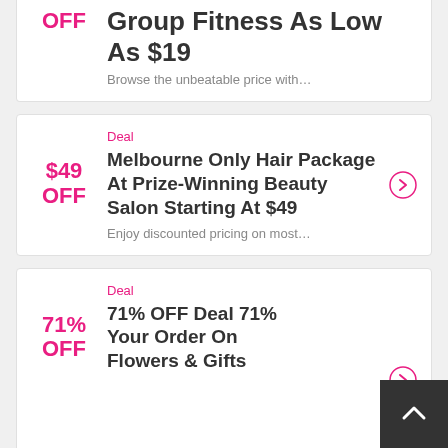OFF
Group Fitness As Low As $19
Browse the unbeatable price with…
Deal
$49 OFF
Melbourne Only Hair Package At Prize-Winning Beauty Salon Starting At $49
Enjoy discounted pricing on most…
Deal
71% OFF
71% OFF Deal 71% Your Order On Flowers & Gifts